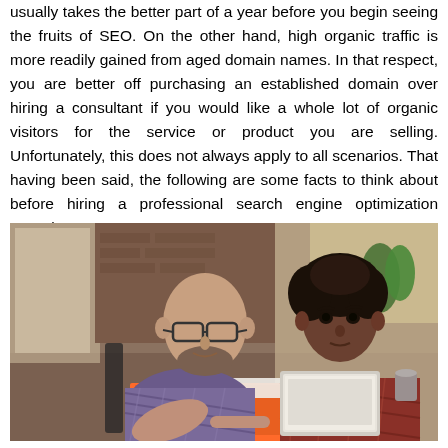usually takes the better part of a year before you begin seeing the fruits of SEO. On the other hand, high organic traffic is more readily gained from aged domain names. In that respect, you are better off purchasing an established domain over hiring a consultant if you would like a whole lot of organic visitors for the service or product you are selling. Unfortunately, this does not always apply to all scenarios. That having been said, the following are some facts to think about before hiring a professional search engine optimization consultant.
[Figure (photo): Two people sitting at a table in a modern office/cafe setting. A bald man with glasses and a beard wearing a plaid shirt is on the left, and a woman with natural hair wearing a plaid shirt is on the right with a laptop in front of her.]